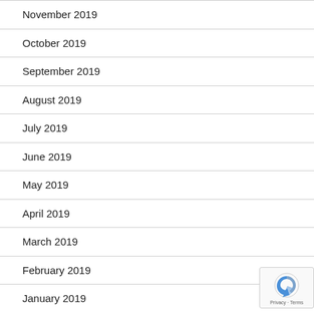November 2019
October 2019
September 2019
August 2019
July 2019
June 2019
May 2019
April 2019
March 2019
February 2019
January 2019
[Figure (logo): reCAPTCHA badge with Google branding, Privacy and Terms links]